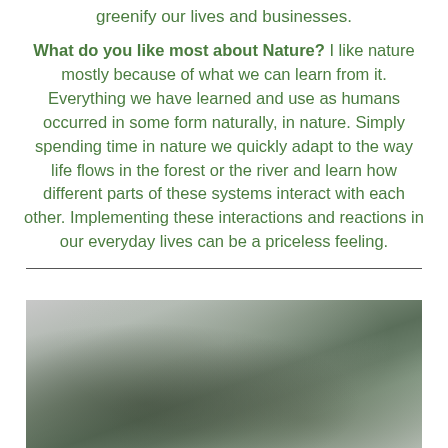greenify our lives and businesses.
What do you like most about Nature?  I like nature mostly because of what we can learn from it.  Everything we have learned and use as humans occurred in some form naturally, in nature.  Simply spending time in nature we quickly adapt to the way life flows in the forest or the river and learn how different parts of these systems interact with each other.  Implementing these interactions and reactions in our everyday lives can be a priceless feeling.
[Figure (photo): A blurred outdoor photograph showing a landscape with trees and an overcast sky, taken from a low angle.]